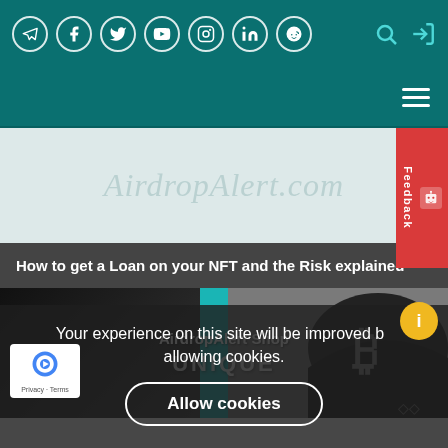Social icons: Telegram, Facebook, Twitter, YouTube, Instagram, LinkedIn, Reddit; Search icon; Login icon
[Figure (screenshot): Navigation bar with hamburger menu icon on dark teal background]
[Figure (logo): AirdropAlert.com logo in light cursive script on pale teal/grey background]
How to get a Loan on your NFT and the Risk explained
[Figure (photo): AirdropAlert Shop banner showing branded merchandise (caps, masks) on teal background with text UNIQUE CRYPTO SWAG]
Your experience on this site will be improved by allowing cookies.
Allow cookies